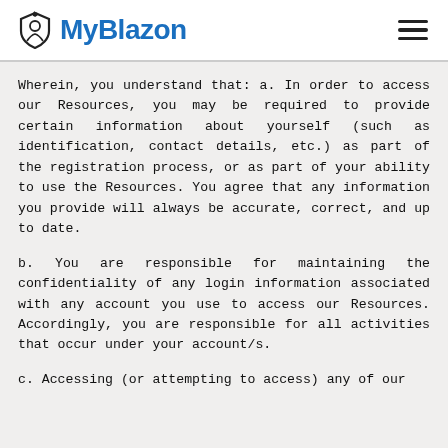MyBlazon
Wherein, you understand that: a. In order to access our Resources, you may be required to provide certain information about yourself (such as identification, contact details, etc.) as part of the registration process, or as part of your ability to use the Resources. You agree that any information you provide will always be accurate, correct, and up to date.
b. You are responsible for maintaining the confidentiality of any login information associated with any account you use to access our Resources. Accordingly, you are responsible for all activities that occur under your account/s.
c. Accessing (or attempting to access) any of our